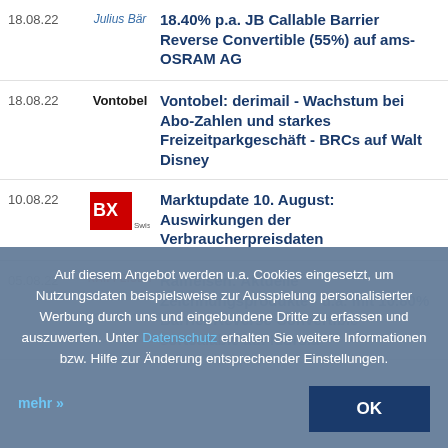18.08.22 | Julius Bär | Julius Bär: Neuemissionen - u.a. mit 18.40% p.a. JB Callable Barrier Reverse Convertible (55%) auf ams-OSRAM AG
18.08.22 | Vontobel | Vontobel: derimail - Wachstum bei Abo-Zahlen und starkes Freizeitparkgeschäft - BRCs auf Walt Disney
10.08.22 | BX Swiss | Marktupdate 10. August: Auswirkungen der Verbraucherpreisdaten
05.08.22 | Raiffeisen | Raiffeisen: Aktuelle Zeichnungsprodukte - u.a. mit 10.80% Barrier Reverse Convertible sortcalable auf Idorsia
Auf diesem Angebot werden u.a. Cookies eingesetzt, um Nutzungsdaten beispielsweise zur Ausspielung personalisierter Werbung durch uns und eingebundene Dritte zu erfassen und auszuwerten. Unter Datenschutz erhalten Sie weitere Informationen bzw. Hilfe zur Änderung entsprechender Einstellungen.
mehr »
OK